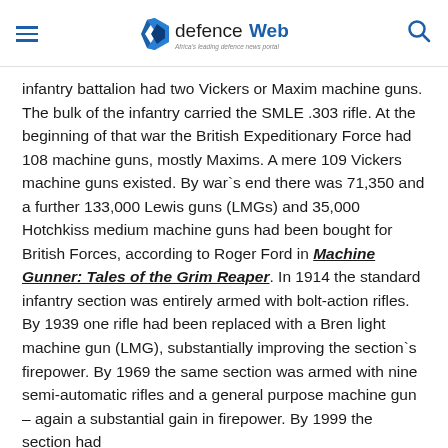defenceWeb — Africa's leading defence news portal
infantry battalion had two Vickers or Maxim machine guns. The bulk of the infantry carried the SMLE .303 rifle. At the beginning of that war the British Expeditionary Force had 108 machine guns, mostly Maxims. A mere 109 Vickers machine guns existed. By war`s end there was 71,350 and a further 133,000 Lewis guns (LMGs) and 35,000 Hotchkiss medium machine guns had been bought for British Forces, according to Roger Ford in Machine Gunner: Tales of the Grim Reaper. In 1914 the standard infantry section was entirely armed with bolt-action rifles. By 1939 one rifle had been replaced with a Bren light machine gun (LMG), substantially improving the section`s firepower. By 1969 the same section was armed with nine semi-automatic rifles and a general purpose machine gun – again a substantial gain in firepower. By 1999 the section had